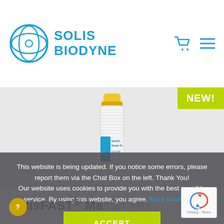[Figure (logo): Solis BioDyne logo with circular eye/infinity design in blue and company name in blue block letters]
[Figure (photo): A small laboratory reagent tube/vial with yellow cap and blue label reading SolisFAST Master Mix, shown against light grey background with a lime green NEW! badge in top right corner]
This website is being updated. If you notice some errors, please report them via the Chat Box on the left. Thank You! Our website uses cookies to provide you with the best possible service. By using this website, you agree. More Information
ACCEPT
SolisFAST® Master Mix